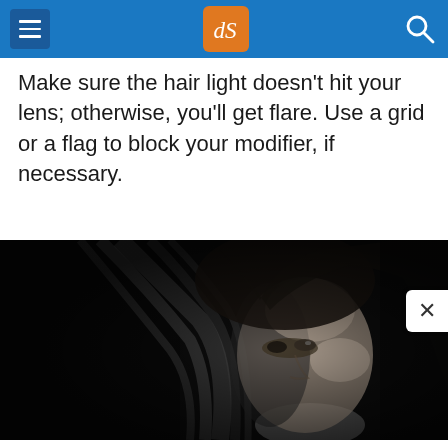dPS photography website header with hamburger menu, dPS logo, and search icon
Make sure the hair light doesn’t hit your lens; otherwise, you’ll get flare. Use a grid or a flag to block your modifier, if necessary.
[Figure (photo): Black and white portrait photo of a woman with long dark hair, face partially lit, against a dark background. A close-up/medium shot showing head and upper shoulders.]